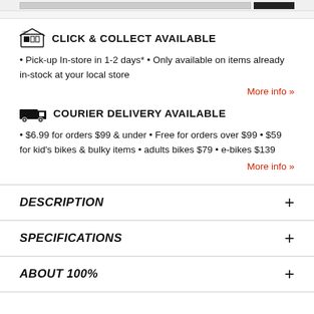CLICK & COLLECT AVAILABLE
• Pick-up In-store in 1-2 days* • Only available on items already in-stock at your local store
More info »
COURIER DELIVERY AVAILABLE
• $6.99 for orders $99 & under • Free for orders over $99 • $59 for kid's bikes & bulky items • adults bikes $79 • e-bikes $139
More info »
DESCRIPTION
SPECIFICATIONS
ABOUT 100%